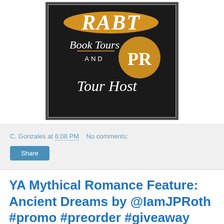[Figure (logo): RABT Book Tours and PR Tour Host logo — black background with gold/yellow brush strokes, white script lettering reading 'RABT Book Tours AND PR Tour Host']
C. Gonzales at 6:08 PM   No comments:
Share
YA Mythical Romance Feature: Ancient Dreams by @IamJPRoth #promo #preorder #giveaway #youngadult